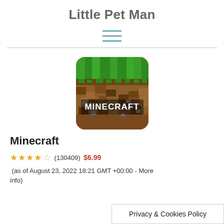Little Pet Man
[Figure (illustration): Hamburger menu icon with three horizontal teal lines]
[Figure (photo): Minecraft app icon showing grass block with MINECRAFT text]
Minecraft
★★★★☆ (130409) $6.99 (as of August 23, 2022 18:21 GMT +00:00 - More info)
Privacy & Cookies Policy